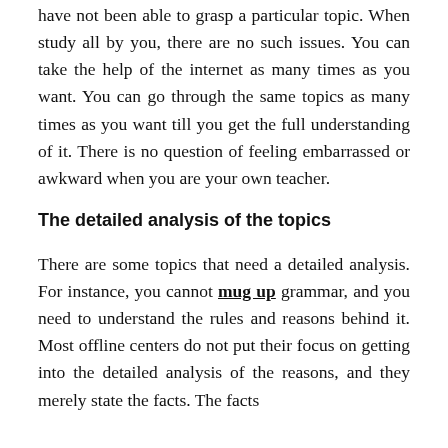have not been able to grasp a particular topic. When study all by you, there are no such issues. You can take the help of the internet as many times as you want. You can go through the same topics as many times as you want till you get the full understanding of it. There is no question of feeling embarrassed or awkward when you are your own teacher.
The detailed analysis of the topics
There are some topics that need a detailed analysis. For instance, you cannot mug up grammar, and you need to understand the rules and reasons behind it. Most offline centers do not put their focus on getting into the detailed analysis of the reasons, and they merely state the facts. The facts